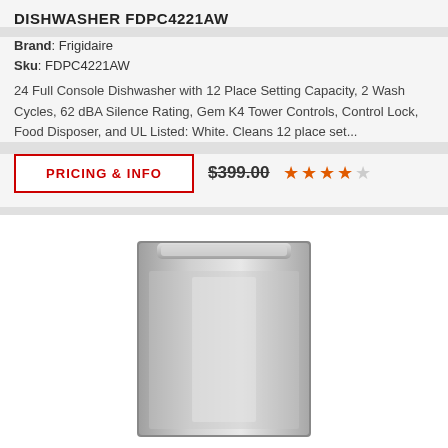DISHWASHER FDPC4221AW
Brand: Frigidaire
Sku: FDPC4221AW
24 Full Console Dishwasher with 12 Place Setting Capacity, 2 Wash Cycles, 62 dBA Silence Rating, Gem K4 Tower Controls, Control Lock, Food Disposer, and UL Listed: White. Cleans 12 place set...
PRICING & INFO  $399.00  ★★★★☆
[Figure (photo): Stainless steel built-in dishwasher product photo showing front panel with handle at top]